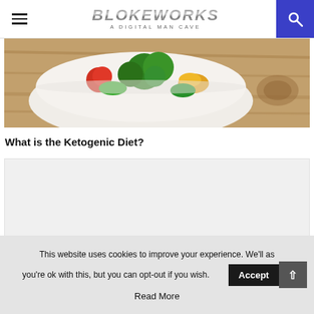BLOKEWORKS A DIGITAL MAN CAVE
[Figure (photo): Food photo showing a white bowl with broccoli, tomatoes and mixed vegetables on a wooden surface]
What is the Ketogenic Diet?
[Figure (other): Advertisement placeholder box (light grey background)]
This website uses cookies to improve your experience. We'll as you're ok with this, but you can opt-out if you wish. Accept Read More